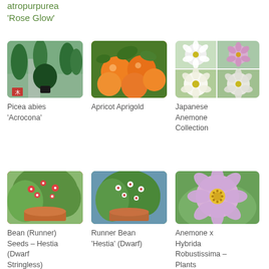atropurpurea
'Rose Glow'
[Figure (photo): Picea abies Acrocona tree in a pot at nursery]
[Figure (photo): Apricot Aprigold fruits on tree]
[Figure (photo): Japanese Anemone Collection - four flower photos collage]
Picea abies 'Acrocona'
Apricot Aprigold
Japanese Anemone Collection
[Figure (photo): Bean Runner Seeds Hestia Dwarf Stringless in terracotta pot]
[Figure (photo): Runner Bean Hestia Dwarf plant in pot]
[Figure (photo): Anemone x Hybrida Robustissima pink flower close-up]
Bean (Runner) Seeds – Hestia (Dwarf Stringless)
Runner Bean 'Hestia' (Dwarf)
Anemone x Hybrida Robustissima – Plants